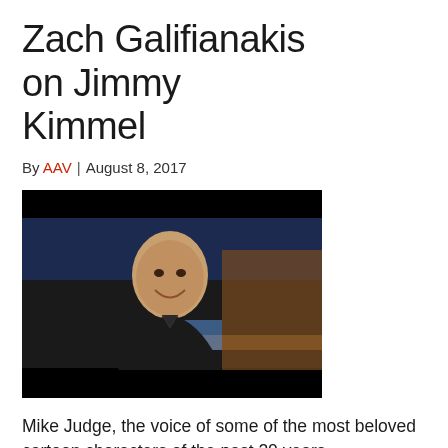Zach Galifianakis on Jimmy Kimmel
By AAV | August 8, 2017
[Figure (photo): A bald man smiling, seated in a dark outfit, on what appears to be a late-night TV set with a city skyline backdrop and wooden desk visible.]
Mike Judge, the voice of some of the most beloved cartoon characters of the past 20 years...